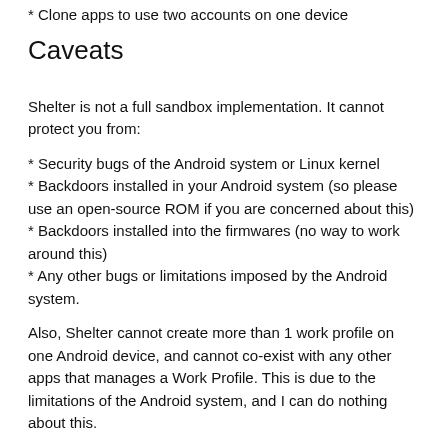* Clone apps to use two accounts on one device
Caveats
Shelter is not a full sandbox implementation. It cannot protect you from:
* Security bugs of the Android system or Linux kernel
* Backdoors installed in your Android system (so please use an open-source ROM if you are concerned about this)
* Backdoors installed into the firmwares (no way to work around this)
* Any other bugs or limitations imposed by the Android system.
Also, Shelter cannot create more than 1 work profile on one Android device, and cannot co-exist with any other apps that manages a Work Profile. This is due to the limitations of the Android system, and I can do nothing about this.
FAQS